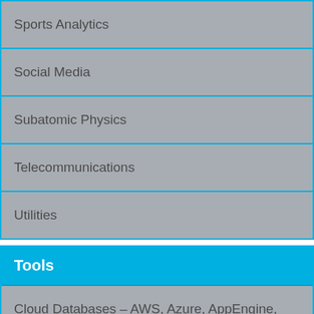Sports Analytics
Social Media
Subatomic Physics
Telecommunications
Utilities
Tools
Cloud Databases – AWS, Azure, AppEngine, Heroku and More
Hadoop
MapReduce